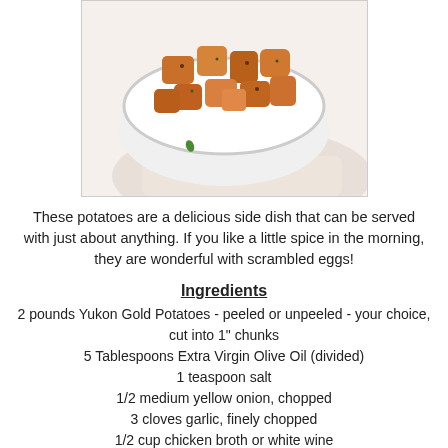[Figure (photo): A white bowl filled with seasoned roasted potato chunks, garnished with herbs, placed on a white cloth napkin. The potatoes appear golden-brown and spiced.]
These potatoes are a delicious side dish that can be served with just about anything. If you like a little spice in the morning, they are wonderful with scrambled eggs!
Ingredients
2 pounds Yukon Gold Potatoes - peeled or unpeeled - your choice, cut into 1" chunks
5 Tablespoons Extra Virgin Olive Oil (divided)
1 teaspoon salt
1/2 medium yellow onion, chopped
3 cloves garlic, finely chopped
1/2 cup chicken broth or white wine
2 Tablespoons tomato paste